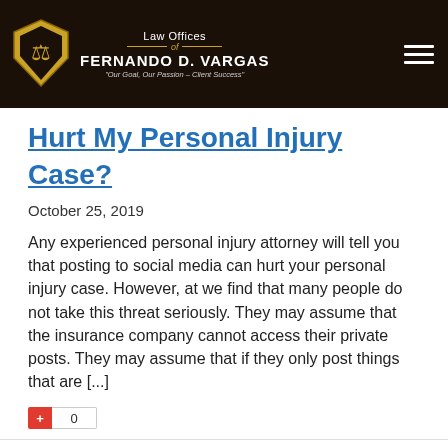Law Offices of FERNANDO D. VARGAS "Our Goal, Our Passion – Client Success"
Hurt My Personal Injury Case?
October 25, 2019
Any experienced personal injury attorney will tell you that posting to social media can hurt your personal injury case. However, at we find that many people do not take this threat seriously. They may assume that the insurance company cannot access their private posts. They may assume that if they only post things that are [...]